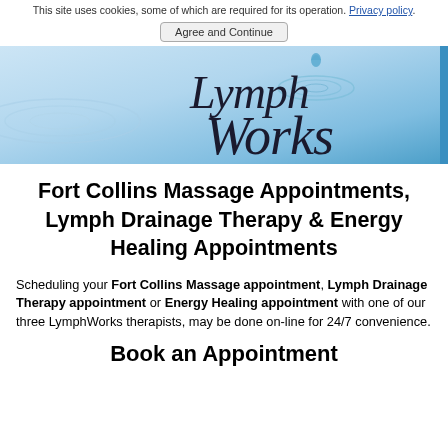This site uses cookies, some of which are required for its operation. Privacy policy.
[Figure (logo): LymphWorks logo banner with light blue water ripple background and cursive script text reading 'LymphWorks']
Fort Collins Massage Appointments, Lymph Drainage Therapy & Energy Healing Appointments
Scheduling your Fort Collins Massage appointment, Lymph Drainage Therapy appointment or Energy Healing appointment with one of our three LymphWorks therapists, may be done on-line for 24/7 convenience.
Book an Appointment